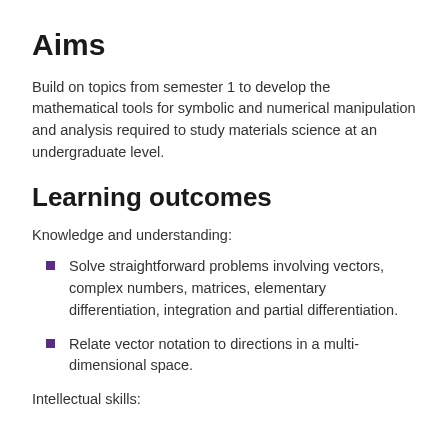Aims
Build on topics from semester 1 to develop the mathematical tools for symbolic and numerical manipulation and analysis required to study materials science at an undergraduate level.
Learning outcomes
Knowledge and understanding:
Solve straightforward problems involving vectors, complex numbers, matrices, elementary differentiation, integration and partial differentiation.
Relate vector notation to directions in a multi-dimensional space.
Intellectual skills: